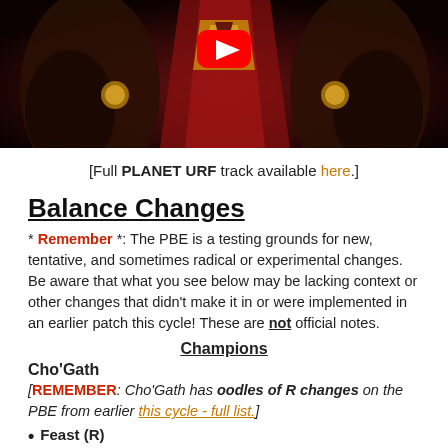[Figure (illustration): Video thumbnail showing a fantasy game character artwork with YouTube play button overlay]
[Full PLANET URF track available here.]
Balance Changes
* Remember *: The PBE is a testing grounds for new, tentative, and sometimes radical or experimental changes. Be aware that what you see below may be lacking context or other changes that didn't make it in or were implemented in an earlier patch this cycle! These are not official notes.
Champions
Cho'Gath
[REMEMBER: Cho'Gath has oodles of R changes on the PBE from earlier this cycle - full list.]
Feast (R)